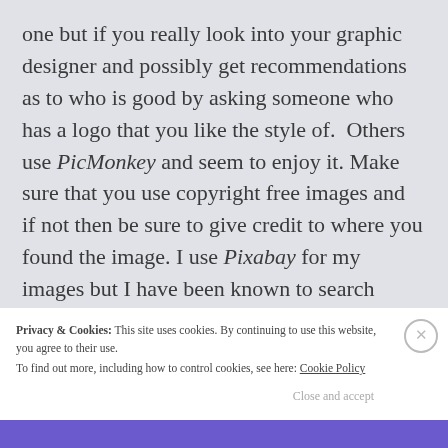one but if you really look into your graphic designer and possibly get recommendations as to who is good by asking someone who has a logo that you like the style of.  Others use PicMonkey and seem to enjoy it. Make sure that you use copyright free images and if not then be sure to give credit to where you found the image. I use Pixabay for my images but I have been known to search online for gifs and images.
Privacy & Cookies: This site uses cookies. By continuing to use this website, you agree to their use. To find out more, including how to control cookies, see here: Cookie Policy
Close and accept